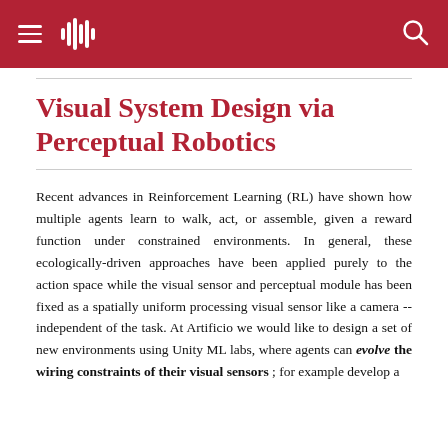Visual System Design via Perceptual Robotics
Visual System Design via Perceptual Robotics
Recent advances in Reinforcement Learning (RL) have shown how multiple agents learn to walk, act, or assemble, given a reward function under constrained environments. In general, these ecologically-driven approaches have been applied purely to the action space while the visual sensor and perceptual module has been fixed as a spatially uniform processing visual sensor like a camera -- independent of the task. At Artificio we would like to design a set of new environments using Unity ML labs, where agents can evolve the wiring constraints of their visual sensors ; for example develop a